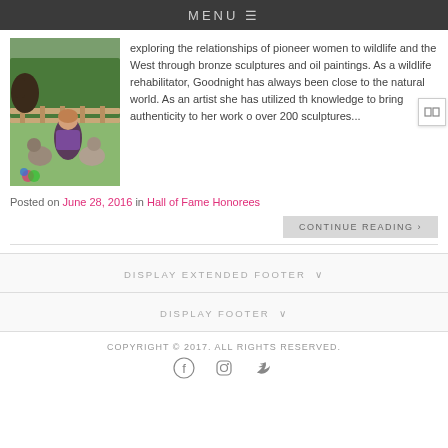MENU
[Figure (photo): Woman sitting outdoors with two husky dogs and a horse in the background, surrounded by trees and a wooden fence]
exploring the relationships of pioneer women to wildlife and the West through bronze sculptures and oil paintings. As a wildlife rehabilitator, Goodnight has always been close to the natural world. As an artist she has utilized th knowledge to bring authenticity to her work over 200 sculptures...
Posted on June 28, 2016  in  Hall of Fame Honorees
CONTINUE READING ›
DISPLAY EXTENDED FOOTER ∨
DISPLAY FOOTER ∨
COPYRIGHT © 2017. ALL RIGHTS RESERVED.